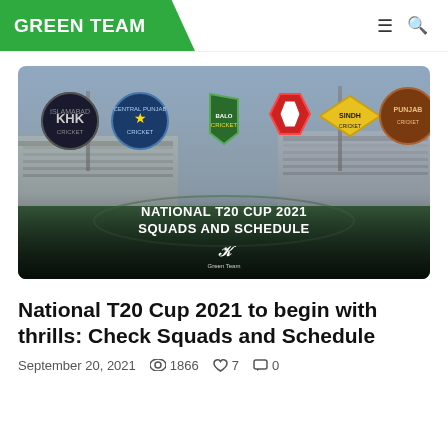GREEN TEAM
[Figure (photo): Cricket stadium background with 6 team logos for National T20 Cup 2021 overlaid. Teams include Islamabad, Central Punjab, Balochistan, KPK, Sindh Cricket, and Punjab. Text overlay: NATIONAL T20 CUP 2021 SQUADS AND SCHEDULE with Green Team logo.]
National T20 Cup 2021 to begin with thrills: Check Squads and Schedule
September 20, 2021   1866   7   0